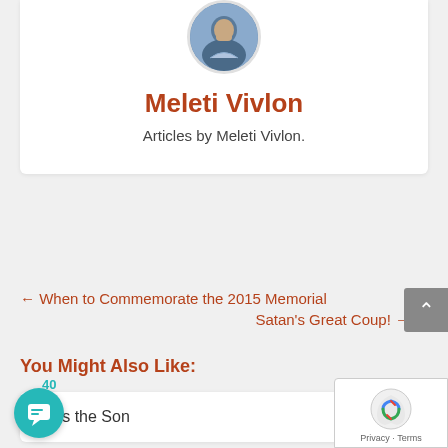[Figure (photo): Circular avatar photo of Meleti Vivlon at the top of the author card]
Meleti Vivlon
Articles by Meleti Vivlon.
← When to Commemorate the 2015 Memorial
Satan's Great Coup! →
You Might Also Like:
Kiss the Son